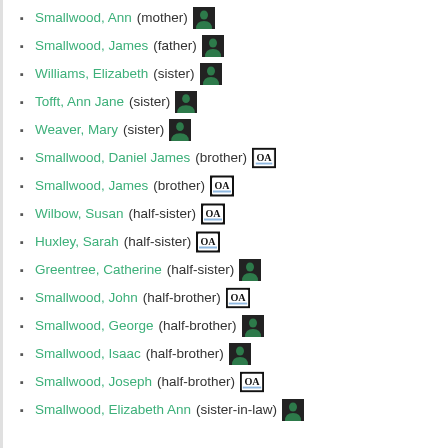Smallwood, Ann (mother)
Smallwood, James (father)
Williams, Elizabeth (sister)
Tofft, Ann Jane (sister)
Weaver, Mary (sister)
Smallwood, Daniel James (brother)
Smallwood, James (brother)
Wilbow, Susan (half-sister)
Huxley, Sarah (half-sister)
Greentree, Catherine (half-sister)
Smallwood, John (half-brother)
Smallwood, George (half-brother)
Smallwood, Isaac (half-brother)
Smallwood, Joseph (half-brother)
Smallwood, Elizabeth Ann (sister-in-law)